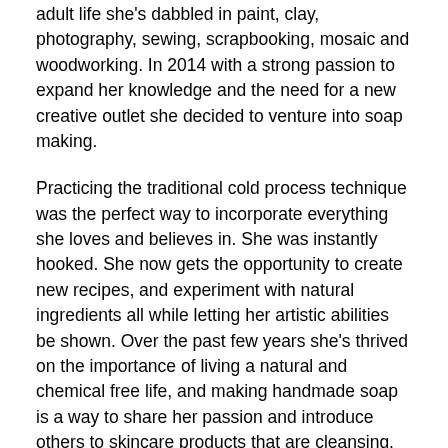adult life she's dabbled in paint, clay, photography, sewing, scrapbooking, mosaic and woodworking. In 2014 with a strong passion to expand her knowledge and the need for a new creative outlet she decided to venture into soap making.
Practicing the traditional cold process technique was the perfect way to incorporate everything she loves and believes in. She was instantly hooked. She now gets the opportunity to create new recipes, and experiment with natural ingredients all while letting her artistic abilities be shown. Over the past few years she's thrived on the importance of living a natural and chemical free life, and making handmade soap is a way to share her passion and introduce others to skincare products that are cleansing, beneficial and beautiful without the chemicals and synthetic ingredients!